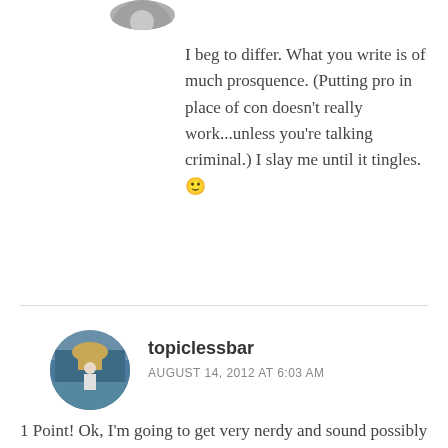[Figure (photo): Partial circular avatar image at top, cropped at top of page]
I beg to differ. What you write is of much prosquence. (Putting pro in place of con doesn't really work...unless you're talking criminal.) I slay me until it tingles. 🙂
Reply
[Figure (photo): Circular avatar photo of a person standing near water with a building in background]
topiclessbar
AUGUST 14, 2012 AT 6:03 AM
1 Point! Ok, I'm going to get very nerdy and sound possibly creepy here...
In a way, it's a blessing not to get Freshly Pressed. It